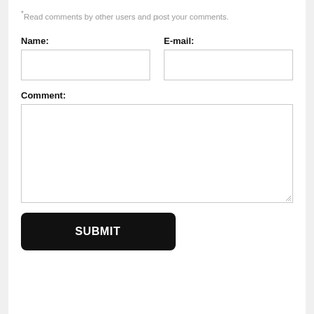*Read comments by other users and post your comments.
Name:
E-mail:
Comment:
SUBMIT